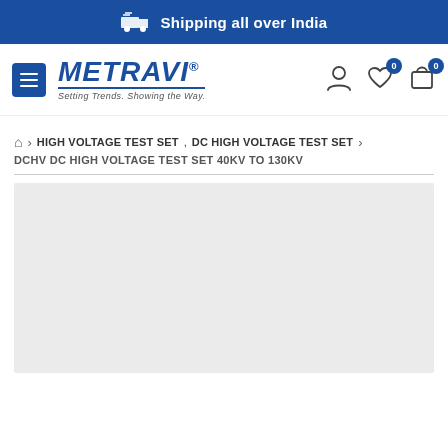Shipping all over India
[Figure (logo): Metravi logo with tagline 'Setting Trends. Showing the Way.' and hamburger menu button, plus navigation icons (user, wishlist, cart)]
HIGH VOLTAGE TEST SET , DC HIGH VOLTAGE TEST SET
DCHV DC HIGH VOLTAGE TEST SET 40KV TO 130KV
[Figure (photo): Light gray product image placeholder area]